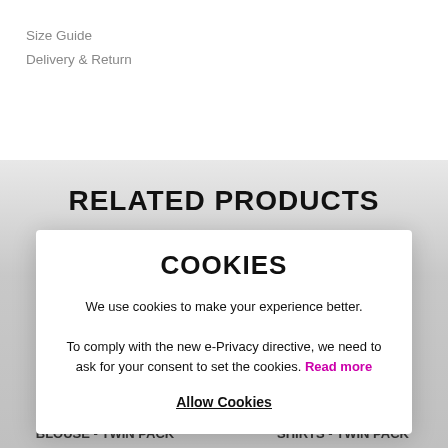Size Guide
Delivery & Return
RELATED PRODUCTS
COOKIES
We use cookies to make your experience better. To comply with the new e-Privacy directive, we need to ask for your consent to set the cookies. Read more
Allow Cookies
NON IRON LONG SLEEVE FITTED BLOUSE - TWIN PACK
BOYS SLIM FIT LONG SLEEVE NON IRON SHIRTS - TWIN PACK